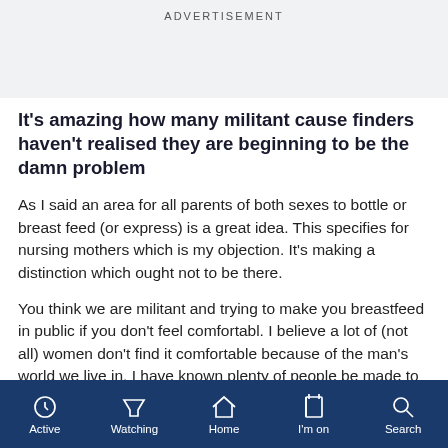ADVERTISEMENT
It's amazing how many militant cause finders haven't realised they are beginning to be the damn problem
As I said an area for all parents of both sexes to bottle or breast feed (or express) is a great idea. This specifies for nursing mothers which is my objection. It's making a distinction which ought not to be there.
You think we are militant and trying to make you breastfeed in public if you don't feel comfortabl. I believe a lot of (not all) women don't find it comfortable because of the man's world we live in. I have known plenty of people be made to feel embarrassed for feeding in public spaces
Active  Watching  Home  I'm on  Search